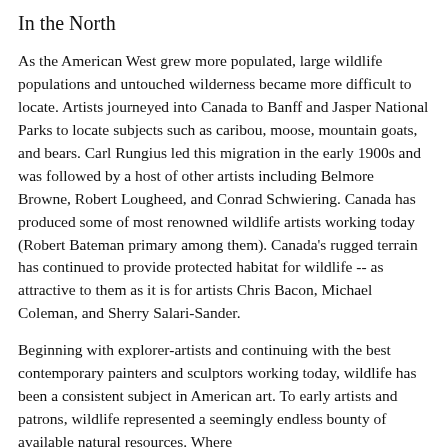In the North
As the American West grew more populated, large wildlife populations and untouched wilderness became more difficult to locate. Artists journeyed into Canada to Banff and Jasper National Parks to locate subjects such as caribou, moose, mountain goats, and bears. Carl Rungius led this migration in the early 1900s and was followed by a host of other artists including Belmore Browne, Robert Lougheed, and Conrad Schwiering. Canada has produced some of most renowned wildlife artists working today (Robert Bateman primary among them). Canada's rugged terrain has continued to provide protected habitat for wildlife -- as attractive to them as it is for artists Chris Bacon, Michael Coleman, and Sherry Salari-Sander.
Beginning with explorer-artists and continuing with the best contemporary painters and sculptors working today, wildlife has been a consistent subject in American art. To early artists and patrons, wildlife represented a seemingly endless bounty of available natural resources. Where Europeans had enriched this art, North Americans had...